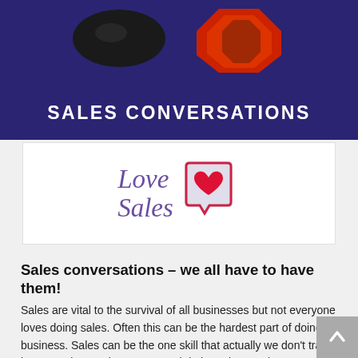SALES CONVERSATIONS
[Figure (logo): Love Sales logo — text 'Love Sales' in italic purple serif font beside a speech bubble icon containing a red heart, outlined in dark purple/navy]
Sales conversations – we all have to have them!
Sales are vital to the survival of all businesses but not everyone loves doing sales. Often this can be the hardest part of doing business. Sales can be the one skill that actually we don't train in or practice, we just get on and do it.  By just getting on, sometimes this means we are